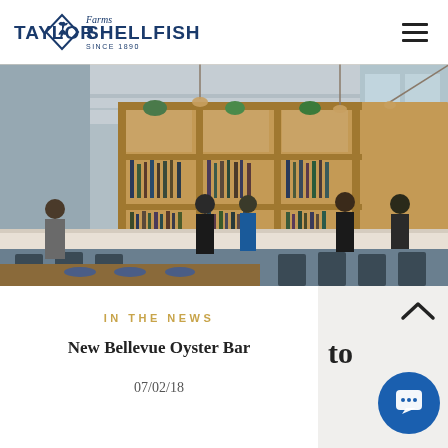Taylor Shellfish Farms Since 1890
[Figure (photo): Interior of Taylor Shellfish Farms oyster bar restaurant showing a wooden shelving unit behind the bar filled with bottles and plants, bartenders working, and bar seating in the foreground with blue chairs and wooden tables.]
IN THE NEWS
New Bellevue Oyster Bar
07/02/18
[Figure (screenshot): Partial 'to top' button and chat widget circle button overlay in bottom right corner.]